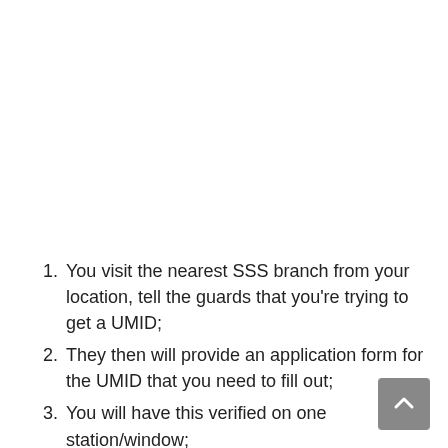You visit the nearest SSS branch from your location, tell the guards that you're trying to get a UMID;
They then will provide an application form for the UMID that you need to fill out;
You will have this verified on one station/window;
Once everything is done, your picture and